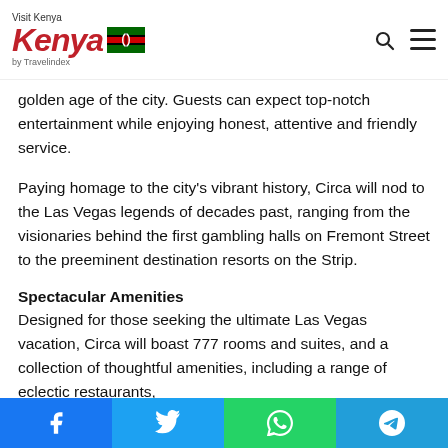Visit Kenya by Travelindex
golden age of the city. Guests can expect top-notch entertainment while enjoying honest, attentive and friendly service.
Paying homage to the city's vibrant history, Circa will nod to the Las Vegas legends of decades past, ranging from the visionaries behind the first gambling halls on Fremont Street to the preeminent destination resorts on the Strip.
Spectacular Amenities
Designed for those seeking the ultimate Las Vegas vacation, Circa will boast 777 rooms and suites, and a collection of thoughtful amenities, including a range of eclectic restaurants,
Share buttons: Facebook, Twitter, WhatsApp, Telegram